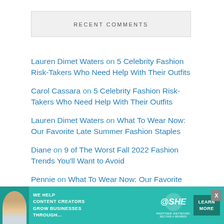RECENT COMMENTS
Lauren Dimet Waters on 5 Celebrity Fashion Risk-Takers Who Need Help With Their Outfits
Carol Cassara on 5 Celebrity Fashion Risk-Takers Who Need Help With Their Outfits
Lauren Dimet Waters on What To Wear Now: Our Favorite Late Summer Fashion Staples
Diane on 9 of The Worst Fall 2022 Fashion Trends You'll Want to Avoid
Pennie on What To Wear Now: Our Favorite
[Figure (infographic): Advertisement banner for SHE Media Partner Network with text: WE HELP CONTENT CREATORS GROW BUSINESSES THROUGH... with LEARN MORE button]